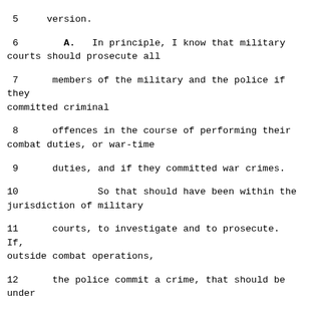5     version.
6        A.   In principle, I know that military courts should prosecute all
7      members of the military and the police if they committed criminal
8      offences in the course of performing their combat duties, or war-time
9      duties, and if they committed war crimes.
10              So that should have been within the jurisdiction of military
11      courts, to investigate and to prosecute.  If, outside combat operations,
12      the police commit a crime, that should be under